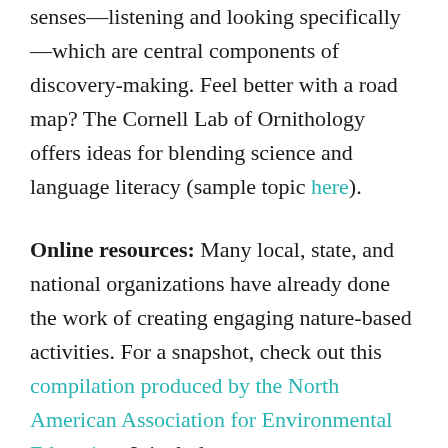senses—listening and looking specifically—which are central components of discovery-making. Feel better with a road map? The Cornell Lab of Ornithology offers ideas for blending science and language literacy (sample topic here).
Online resources: Many local, state, and national organizations have already done the work of creating engaging nature-based activities. For a snapshot, check out this compilation produced by the North American Association for Environmental Education. It includes